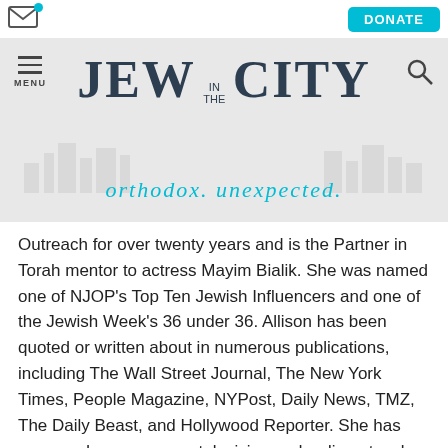[Figure (screenshot): Website header for 'Jew in the City' with navigation menu, donate button, email icon, search icon, logo, and tagline 'orthodox. unexpected.']
Outreach for over twenty years and is the Partner in Torah mentor to actress Mayim Bialik. She was named one of NJOP's Top Ten Jewish Influencers and one of the Jewish Week's 36 under 36. Allison has been quoted or written about in numerous publications, including The Wall Street Journal, The New York Times, People Magazine, NYPost, Daily News, TMZ, The Daily Beast, and Hollywood Reporter. She has appeared on numerous television and radio networks including CBS, ABC, Fox5, TLC, Associate Press TV, and NPR; her articles have appeared in publications including The Washington Post, JTA, Jewish Week, Jerusalem Post, The Forward, and Kveller. Pearson Education, the largest textbook company in the world, produced a